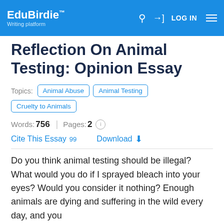EduBirdie™ Writing platform | LOG IN
Reflection On Animal Testing: Opinion Essay
Topics: Animal Abuse  Animal Testing  Cruelty to Animals
Words: 756 | Pages: 2
Cite This Essay 99   Download
Do you think animal testing should be illegal? What would you do if I sprayed bleach into your eyes? Would you consider it nothing? Enough animals are dying and suffering in the wild every day, and you